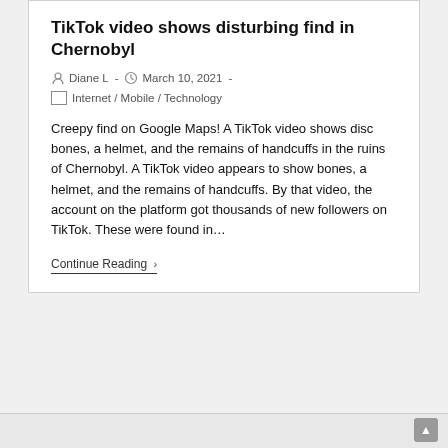TikTok video shows disturbing find in Chernobyl
Diane L  -  March 10, 2021  -
Internet / Mobile / Technology
Creepy find on Google Maps! A TikTok video shows disc bones, a helmet, and the remains of handcuffs in the ruins of Chernobyl. A TikTok video appears to show bones, a helmet, and the remains of handcuffs. By that video, the account on the platform got thousands of new followers on TikTok. These were found in…
Continue Reading ›